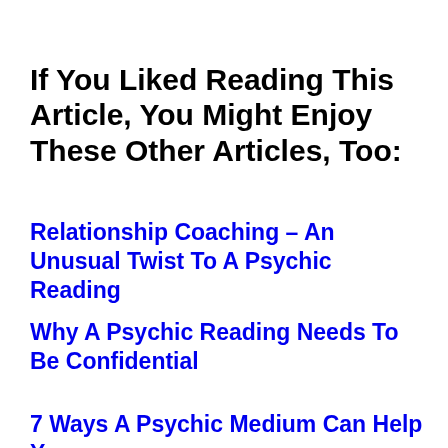If You Liked Reading This Article, You Might Enjoy These Other Articles, Too:
Relationship Coaching – An Unusual Twist To A Psychic Reading
Why A Psychic Reading Needs To Be Confidential
7 Ways A Psychic Medium Can Help You